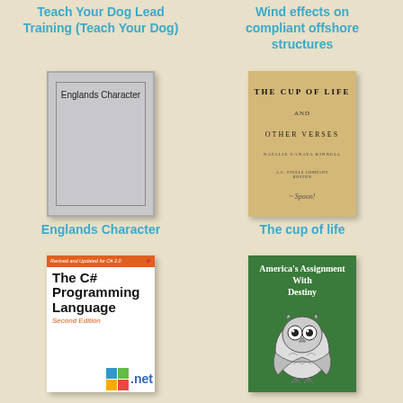Teach Your Dog Lead Training (Teach Your Dog)
Wind effects on compliant offshore structures
[Figure (illustration): Book cover for 'Englands Character' - plain gray cover with inner border]
Englands Character
[Figure (illustration): Book cover for 'The Cup of Life and Other Verses' - aged beige/tan cover with serif text and signature]
The cup of life
[Figure (illustration): Book cover for 'The C# Programming Language Second Edition' - white cover with orange bar, Microsoft .net branding]
[Figure (illustration): Book cover for "America's Assignment With Destiny" - green cover with owl illustration]